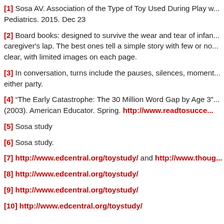[1] Sosa AV. Association of the Type of Toy Used During Play with the Quantity and Quality of Parent-Infant Communication. JAMA Pediatrics. 2015. Dec 23
[2] Board books: designed to survive the wear and tear of infancy and meant to be read on a caregiver's lap. The best ones tell a simple story with few or no words. Text is large and clear, with limited images on each page.
[3] In conversation, turns include the pauses, silences, moments of mutual attention by either party.
[4] “The Early Catastrophe: The 30 Million Word Gap by Age 3” by Betty Hart & Todd Risley (2003). American Educator. Spring. http://www.readtosucceed...
[5] Sosa study
[6] Sosa study.
[7] http://www.edcentral.org/toystudy/ and http://www.thoug...
[8] http://www.edcentral.org/toystudy/
[9] http://www.edcentral.org/toystudy/
[10] http://www.edcentral.org/toystudy/